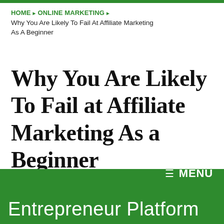HOME ▶ ONLINE MARKETING ▶
Why You Are Likely To Fail At Affiliate Marketing As A Beginner
Why You Are Likely To Fail at Affiliate Marketing As a Beginner
Gudtalent Chrisent   No Comments
≡ MENU
Entrepreneur Platform